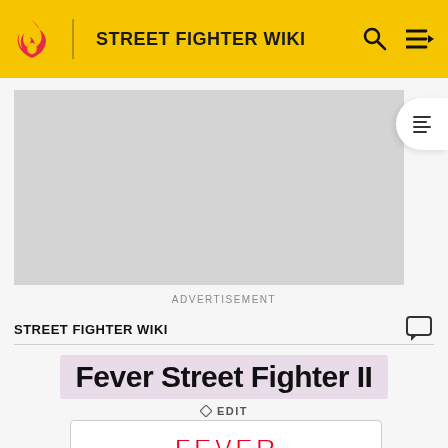STREET FIGHTER WIKI
[Figure (other): Advertisement placeholder - gray rectangle]
ADVERTISEMENT
STREET FIGHTER WIKI
Fever Street Fighter II
EDIT
[Figure (illustration): Fever Street Fighter II game logo - colorful stylized text with red, yellow and blue colors]